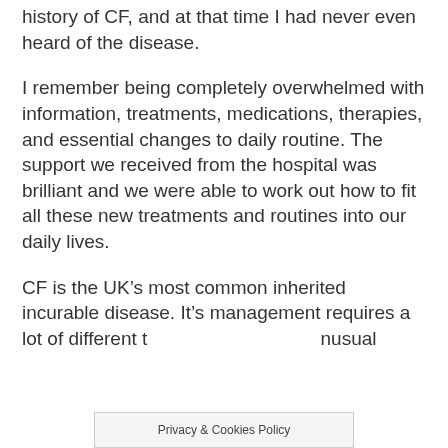history of CF, and at that time I had never even heard of the disease.
I remember being completely overwhelmed with information, treatments, medications, therapies, and essential changes to daily routine. The support we received from the hospital was brilliant and we were able to work out how to fit all these new treatments and routines into our daily lives.
CF is the UK's most common inherited incurable disease. It's management requires a lot of different t… unusual
Privacy & Cookies Policy